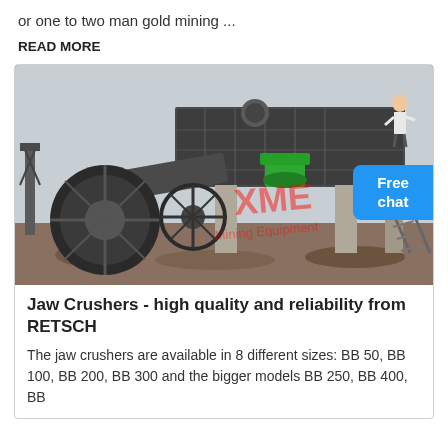or one to two man gold mining ...
READ MORE
[Figure (photo): Industrial mining equipment - a large sand washing machine / screening plant with conveyor, large tractor tires, waterwheel-type mechanism, and metal staircase structure. XME Mining Equipment watermark visible.]
Jaw Crushers - high quality and reliability from RETSCH
The jaw crushers are available in 8 different sizes: BB 50, BB 100, BB 200, BB 300 and the bigger models BB 250, BB 400, BB